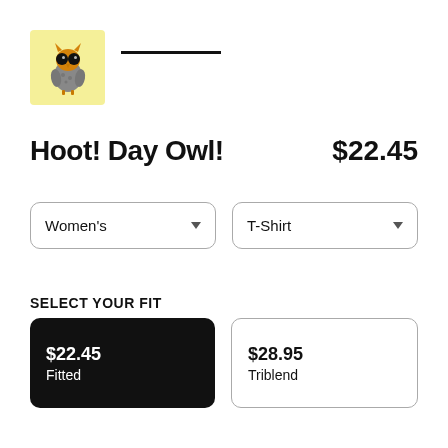[Figure (illustration): Small owl illustration on a yellow background square, with orange head and gray body with large black eyes]
Hoot! Day Owl!
$22.45
Women's
T-Shirt
SELECT YOUR FIT
$22.45
Fitted
$28.95
Triblend